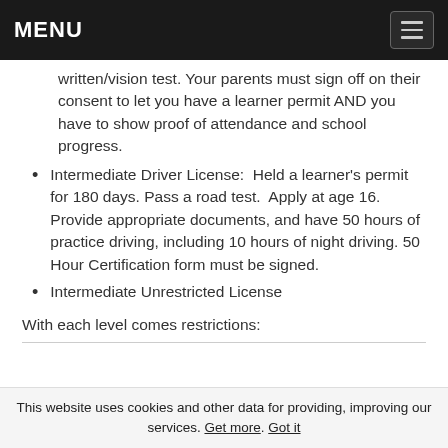MENU
written/vision test. Your parents must sign off on their consent to let you have a learner permit AND you have to show proof of attendance and school progress.
Intermediate Driver License:  Held a learner's permit for 180 days. Pass a road test.  Apply at age 16. Provide appropriate documents, and have 50 hours of practice driving, including 10 hours of night driving. 50 Hour Certification form must be signed.
Intermediate Unrestricted License
With each level comes restrictions:
This website uses cookies and other data for providing, improving our services. Get more. Got it